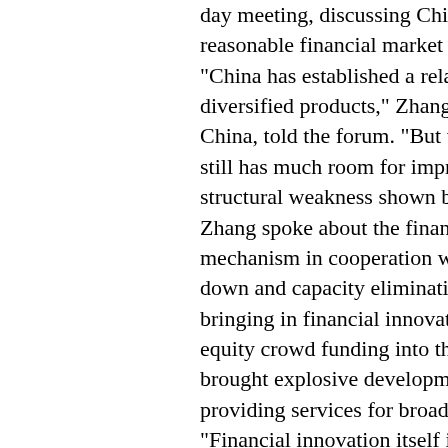day meeting, discussing China's approach to a reasonable financial market under supply... "China has established a relatively complete, diversified products," Zhang Tao, deputy China, told the forum. "But the general level still has much room for improvement, as structural weakness shown by some spe... Zhang spoke about the financial macro mechanism in cooperation with the government down and capacity elimination, and highlighted bringing in financial innovations such as equity crowd funding into the mechanism, brought explosive development in China's providing services for broader investors, "Financial innovation itself is affirmative, should not overlook the risks hiding behind regulation and management to catch up development," he said.
Boom in private lending
China's private lending sector is booming, small and mid-capital enterprises to raise online lending platforms has risen to more three years with a third of them shut down